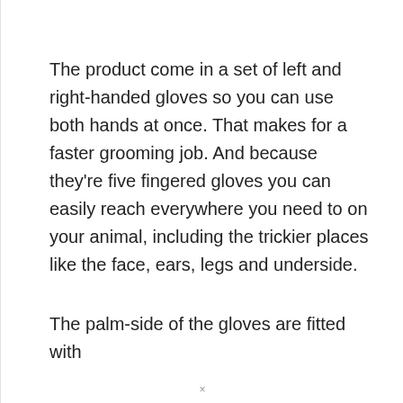The product come in a set of left and right-handed gloves so you can use both hands at once. That makes for a faster grooming job. And because they're five fingered gloves you can easily reach everywhere you need to on your animal, including the trickier places like the face, ears, legs and underside.
The palm-side of the gloves are fitted with
×